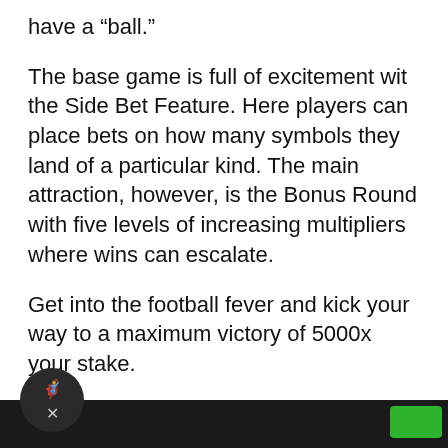have a “ball.”
The base game is full of excitement wit the Side Bet Feature. Here players can place bets on how many symbols they land of a particular kind. The main attraction, however, is the Bonus Round with five levels of increasing multipliers where wins can escalate.
Get into the football fever and kick your way to a maximum victory of 5000x your stake.
Betting Range